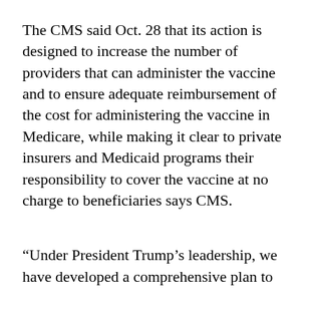The CMS said Oct. 28 that its action is designed to increase the number of providers that can administer the vaccine and to ensure adequate reimbursement of the cost for administering the vaccine in Medicare, while making it clear to private insurers and Medicaid programs their responsibility to cover the vaccine at no charge to beneficiaries says CMS.
“Under President Trump’s leadership, we have developed a comprehensive plan to ensure the swift and successful distribution